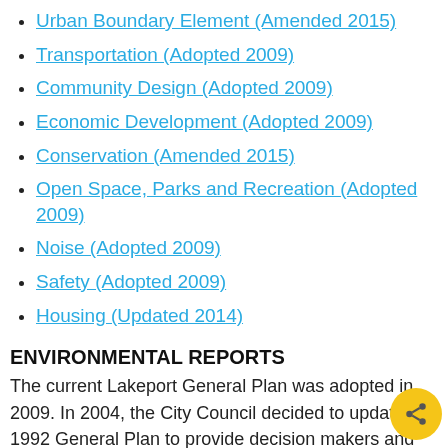Urban Boundary Element (Amended 2015)
Transportation (Adopted 2009)
Community Design (Adopted 2009)
Economic Development (Adopted 2009)
Conservation (Amended 2015)
Open Space, Parks and Recreation (Adopted 2009)
Noise (Adopted 2009)
Safety (Adopted 2009)
Housing (Updated 2014)
ENVIRONMENTAL REPORTS
The current Lakeport General Plan was adopted in 2009.  In 2004, the City Council decided to update the 1992 General Plan to provide decision makers and private developers with clearer and more effective policy guidance.  The updated General Plan was approved by City Council via Resolution No. 2347 in April 2009.  The